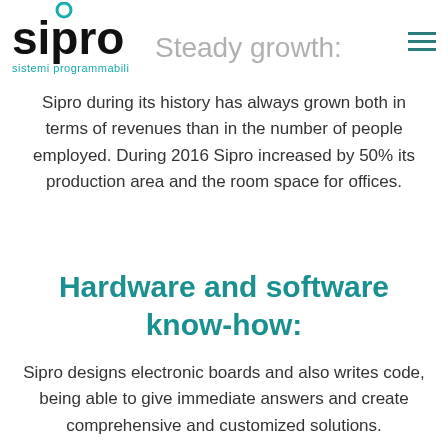[Figure (logo): Sipro logo — bold black 'sipro' text with teal circle above the 'i', and teal tagline 'sistemi programmabili' below]
Steady growth:
Sipro during its history has always grown both in terms of revenues than in the number of people employed. During 2016 Sipro increased by 50% its production area and the room space for offices.
Hardware and software know-how:
Sipro designs electronic boards and also writes code, being able to give immediate answers and create comprehensive and customized solutions.